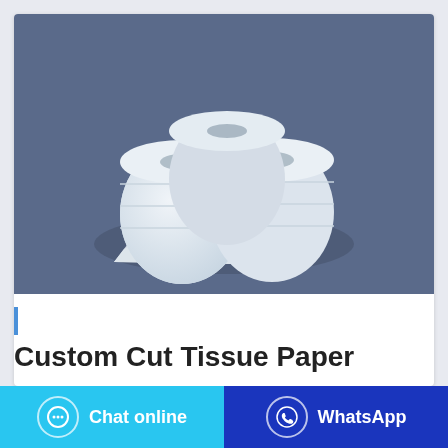[Figure (photo): Three white toilet paper / tissue rolls with hollow cardboard cores, arranged in a group on a muted steel-blue background.]
Custom Cut Tissue Paper
Chat online
WhatsApp